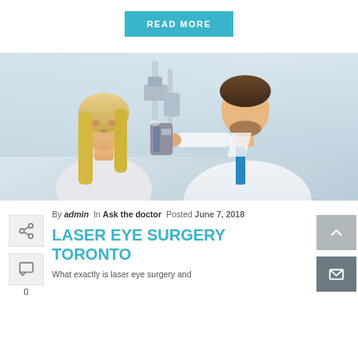READ MORE
[Figure (photo): Doctor examining a female patient's eyes using a slit lamp in a clinical setting. The doctor is a young bearded male in a white coat; the patient is a blonde woman.]
By admin In Ask the doctor Posted June 7, 2018
LASER EYE SURGERY TORONTO
What exactly is laser eye surgery and